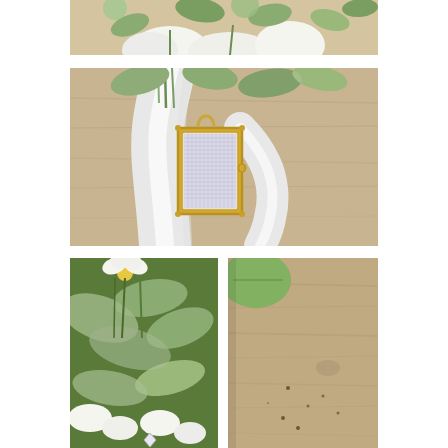[Figure (photo): Close-up of white flowers and green leaves bouquet, cropped top portion showing flowers and eucalyptus]
[Figure (photo): Close-up of a bridal bouquet stem wrapped in white satin ribbon with a small gold rectangular locket/photo charm attached, wooden background]
[Figure (photo): Close-up of white flowers and green lamb's ear leaves in a bridal bouquet]
[Figure (photo): Close-up of wooden surface with a green eucalyptus leaf and small scattered dots/seeds]